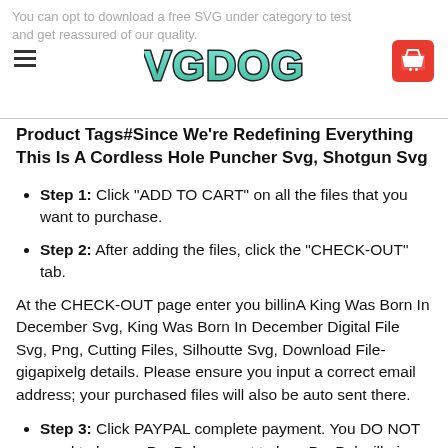You can opt to download a free SVG under category to test and get reassured of our quality. SVGDOGS
Product Tags#Since We're Redefining Everything This Is A Cordless Hole Puncher Svg, Shotgun Svg
Step 1: Click "ADD TO CART" on all the files that you want to purchase.
Step 2: After adding the files, click the "CHECK-OUT" tab.
At the CHECK-OUT page enter you billinA King Was Born In December Svg, King Was Born In December Digital File Svg, Png, Cutting Files, Silhoutte Svg, Download File-gigapixelg details. Please ensure you input a correct email address; your purchased files will also be auto sent there.
Step 3: Click PAYPAL complete payment. You DO NOT need to have a PayPal account to buy, PayPal will give you